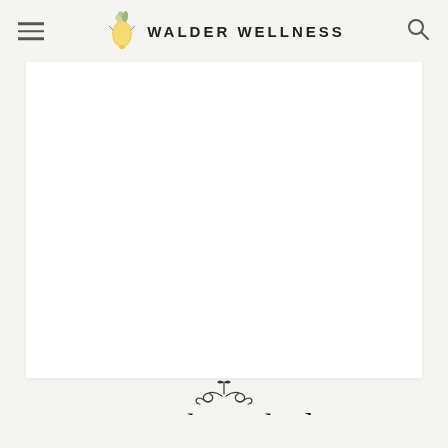WALDER WELLNESS
[Figure (photo): Large white/blank image area for baked feta recipe photo]
[Figure (illustration): Decorative scroll/flourish ornament]
How To Make Baked Feta
To start making this recipe, preheat your oven to 400F.